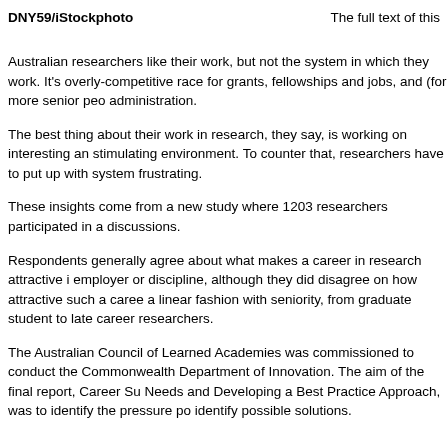DNY59/iStockphoto    The full text of this
Australian researchers like their work, but not the system in which they work. It's overly-competitive race for grants, fellowships and jobs, and (for more senior peo administration.
The best thing about their work in research, they say, is working on interesting an stimulating environment. To counter that, researchers have to put up with system frustrating.
These insights come from a new study where 1203 researchers participated in a discussions.
Respondents generally agree about what makes a career in research attractive i employer or discipline, although they did disagree on how attractive such a caree a linear fashion with seniority, from graduate student to late career researchers.
The Australian Council of Learned Academies was commissioned to conduct the Commonwealth Department of Innovation. The aim of the final report, Career Su Needs and Developing a Best Practice Approach, was to identify the pressure po identify possible solutions.
Nearly half the...